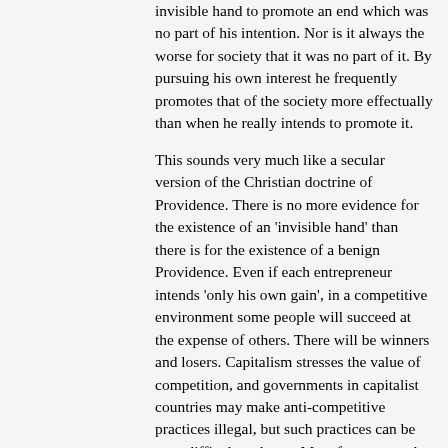invisible hand to promote an end which was no part of his intention. Nor is it always the worse for society that it was no part of it. By pursuing his own interest he frequently promotes that of the society more effectually than when he really intends to promote it.
This sounds very much like a secular version of the Christian doctrine of Providence. There is no more evidence for the existence of an 'invisible hand' than there is for the existence of a benign Providence. Even if each entrepreneur intends 'only his own gain', in a competitive environment some people will succeed at the expense of others. There will be winners and losers. Capitalism stresses the value of competition, and governments in capitalist countries may make anti-competitive practices illegal, but such practices can be very difficult to detect. Manufacturers and retailers who decide that it would be more advantageous to collude with their rivals to keep prices high, than to indulge in a price-cutting war, are unlikely to leave any documentary evidence of such collusion.